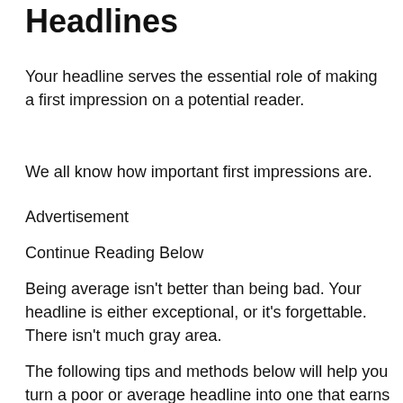Headlines
Your headline serves the essential role of making a first impression on a potential reader.
We all know how important first impressions are.
Advertisement
Continue Reading Below
Being average isn’t better than being bad. Your headline is either exceptional, or it’s forgettable. There isn’t much gray area.
The following tips and methods below will help you turn a poor or average headline into one that earns clicks and pulls in readers.